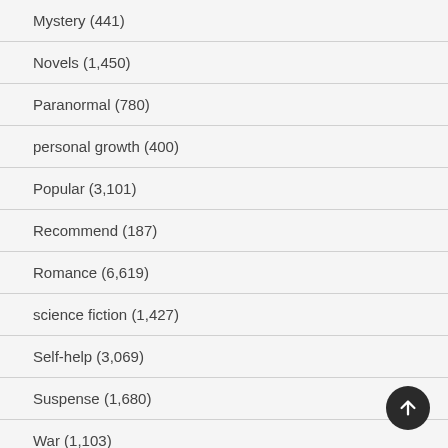Mystery (441)
Novels (1,450)
Paranormal (780)
personal growth (400)
Popular (3,101)
Recommend (187)
Romance (6,619)
science fiction (1,427)
Self-help (3,069)
Suspense (1,680)
War (1,103)